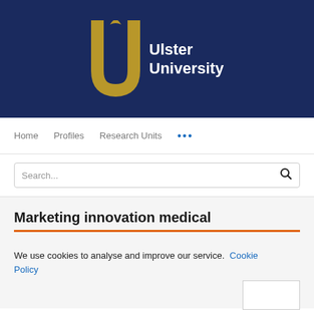[Figure (logo): Ulster University logo: golden U-shaped emblem with a bird silhouette at the top, next to white text 'Ulster University' on a dark navy background]
Home | Profiles | Research Units | ...
Search...
Marketing innovation medical
We use cookies to analyse and improve our service. Cookie Policy